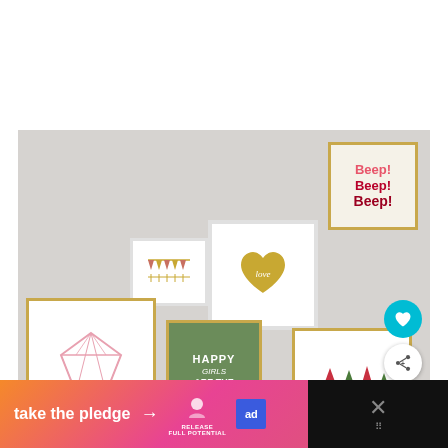[Figure (photo): Gallery wall with multiple framed art prints on a light grey/white wall. Frames include: 'Beep! Beep! Beep!' text print in pink and red with gold frame; a gold heart with 'love' script in white frame; a bunting/pennant flag print in white frame; a pink diamond outline print in gold frame; a green 'Happy Girls Are The Prettiest' print in gold frame; a trees/forest print in gold frame. Teal heart like button and white share button overlay on right side. 'What's Next: One Room Challenge...' panel visible at bottom right.]
WHAT'S NEXT → One Room Challenge...
take the pledge →